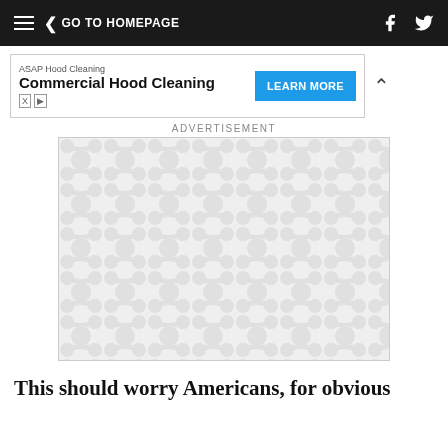GO TO HOMEPAGE
[Figure (screenshot): Advertisement banner for ASAP Hood Cleaning - Commercial Hood Cleaning with a blue LEARN MORE button]
ADVERTISEMENT
[Figure (illustration): Advertisement placeholder image with grey and white repeating curved/bubble pattern]
This should worry Americans, for obvious